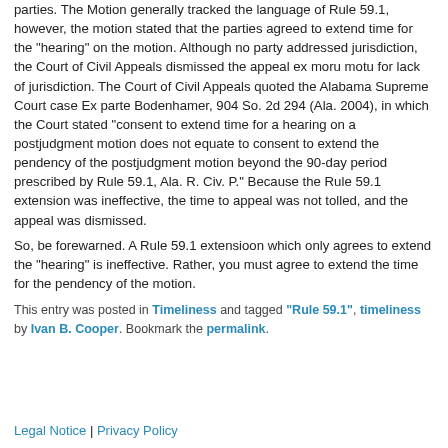parties. The Motion generally tracked the language of Rule 59.1, however, the motion stated that the parties agreed to extend time for the "hearing" on the motion. Although no party addressed jurisdiction, the Court of Civil Appeals dismissed the appeal ex moru motu for lack of jurisdiction. The Court of Civil Appeals quoted the Alabama Supreme Court case Ex parte Bodenhamer, 904 So. 2d 294 (Ala. 2004), in which the Court stated "consent to extend time for a hearing on a postjudgment motion does not equate to consent to extend the pendency of the postjudgment motion beyond the 90-day period prescribed by Rule 59.1, Ala. R. Civ. P." Because the Rule 59.1 extension was ineffective, the time to appeal was not tolled, and the appeal was dismissed.
So, be forewarned. A Rule 59.1 extensioon which only agrees to extend the "hearing" is ineffective. Rather, you must agree to extend the time for the pendency of the motion.
This entry was posted in Timeliness and tagged "Rule 59.1", timeliness by Ivan B. Cooper. Bookmark the permalink.
Legal Notice | Privacy Policy